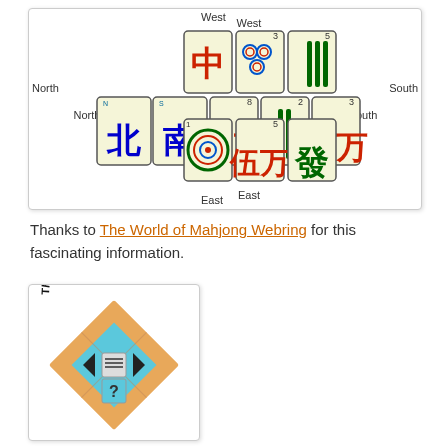[Figure (illustration): Mahjong tile layout showing a compass arrangement with North, South, East, West positions. West has 3 tiles (red zhong, 3 circles, 5 bamboo). North and South each have 1 wind tile. Middle row has 5 tiles (8 wan, 2 bamboo, 3 wan, 6 circles, 8 wan green). East has 3 tiles (1 circle, 5 wan, green fa).]
Thanks to The World of Mahjong Webring for this fascinating information.
[Figure (logo): The World of Mahjong Webring logo - circular text around a diamond-shaped mahjong tile design with peach/tan lattice pattern, light blue diamond, black arrow pieces, and a question mark.]